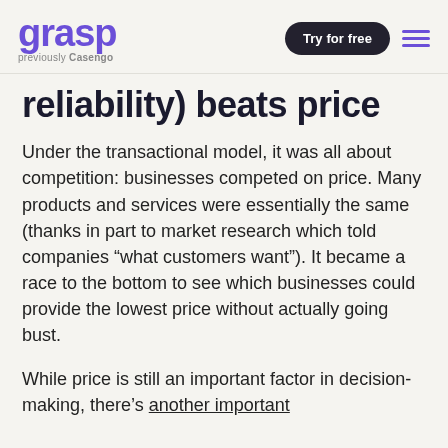grasp previously Casengo | Try for free
reliability) beats price
Under the transactional model, it was all about competition: businesses competed on price. Many products and services were essentially the same (thanks in part to market research which told companies “what customers want”). It became a race to the bottom to see which businesses could provide the lowest price without actually going bust.
While price is still an important factor in decision-making, there’s another important